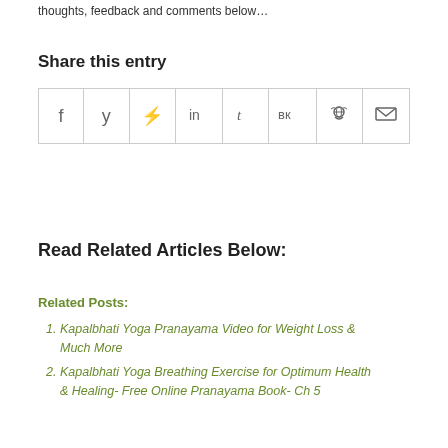thoughts, feedback and comments below…
Share this entry
[Figure (other): Social share icon buttons: Facebook, Twitter, Pinterest, LinkedIn, Tumblr, VK, Reddit, Email]
Read Related Articles Below:
Related Posts:
Kapalbhati Yoga Pranayama Video for Weight Loss & Much More
Kapalbhati Yoga Breathing Exercise for Optimum Health & Healing- Free Online Pranayama Book- Ch 5